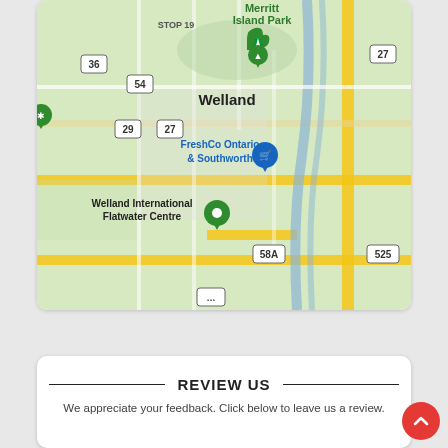[Figure (map): Google Maps view of Welland, Ontario area showing Merritt Island Park, FreshCo Ontario & Southworth, Welland International Flatwater Centre, and road markers including routes 36, 54, 27, 29, 58A, 525, with STOP 19 label. Green location pins mark the venues.]
REVIEW US
We appreciate your feedback. Click below to leave us a review.